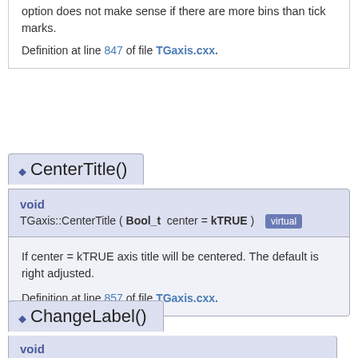option does not make sense if there are more bins than tick marks.
Definition at line 847 of file TGaxis.cxx.
◆ CenterTitle()
void
TGaxis::CenterTitle ( Bool_t  center = kTRUE )  virtual
If center = kTRUE axis title will be centered. The default is right adjusted.
Definition at line 857 of file TGaxis.cxx.
◆ ChangeLabel()
void
TGaxis::ChangeLabel ( Int_t   labNum = 0